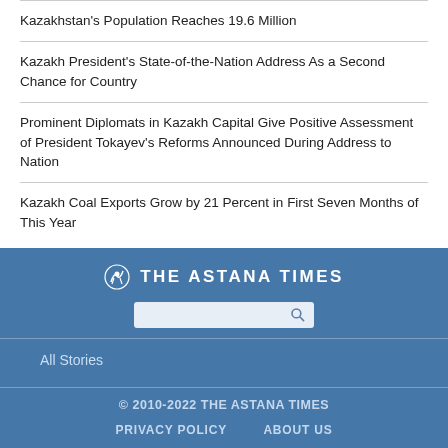Kazakhstan's Population Reaches 19.6 Million
Kazakh President's State-of-the-Nation Address As a Second Chance for Country
Prominent Diplomats in Kazakh Capital Give Positive Assessment of President Tokayev's Reforms Announced During Address to Nation
Kazakh Coal Exports Grow by 21 Percent in First Seven Months of This Year
View More »
[Figure (logo): The Astana Times logo with eagle icon and bold white text on blue background]
All Stories
© 2010-2022 THE ASTANA TIMES
PRIVACY POLICY   ABOUT US